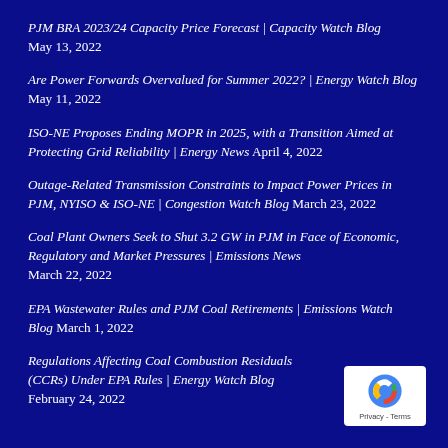PJM BRA 2023/24 Capacity Price Forecast | Capacity Watch Blog May 13, 2022
Are Power Forwards Overvalued for Summer 2022? | Energy Watch Blog May 11, 2022
ISO-NE Proposes Ending MOPR in 2025, with a Transition Aimed at Protecting Grid Reliability | Energy News April 4, 2022
Outage-Related Transmission Constraints to Impact Power Prices in PJM, NYISO & ISO-NE | Congestion Watch Blog March 23, 2022
Coal Plant Owners Seek to Shut 3.2 GW in PJM in Face of Economic, Regulatory and Market Pressures | Emissions News March 22, 2022
EPA Wastewater Rules and PJM Coal Retirements | Emissions Watch Blog March 1, 2022
Regulations Affecting Coal Combustion Residuals (CCRs) Under EPA Rules | Energy Watch Blog February 24, 2022
[Figure (logo): reCAPTCHA badge with Privacy - Terms text]